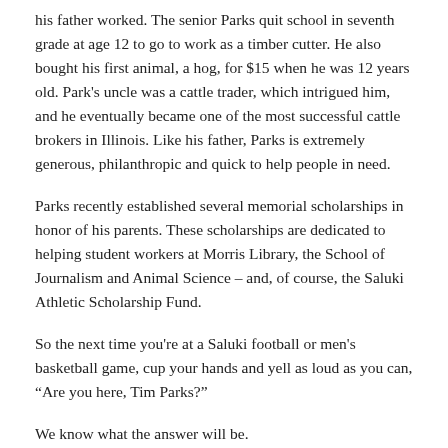his father worked. The senior Parks quit school in seventh grade at age 12 to go to work as a timber cutter. He also bought his first animal, a hog, for $15 when he was 12 years old. Park's uncle was a cattle trader, which intrigued him, and he eventually became one of the most successful cattle brokers in Illinois. Like his father, Parks is extremely generous, philanthropic and quick to help people in need.
Parks recently established several memorial scholarships in honor of his parents. These scholarships are dedicated to helping student workers at Morris Library, the School of Journalism and Animal Science – and, of course, the Saluki Athletic Scholarship Fund.
So the next time you're at a Saluki football or men's basketball game, cup your hands and yell as loud as you can, "Are you here, Tim Parks?"
We know what the answer will be.
Posted in Donor Stories, Higher Education, Illinois Higher